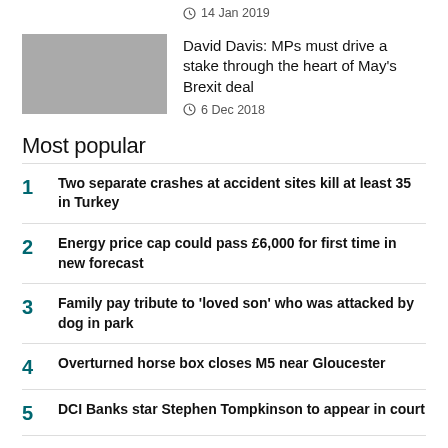14 Jan 2019
[Figure (photo): Thumbnail image placeholder (gray)]
David Davis: MPs must drive a stake through the heart of May's Brexit deal
6 Dec 2018
Most popular
Two separate crashes at accident sites kill at least 35 in Turkey
Energy price cap could pass £6,000 for first time in new forecast
Family pay tribute to 'loved son' who was attacked by dog in park
Overturned horse box closes M5 near Gloucester
DCI Banks star Stephen Tompkinson to appear in court